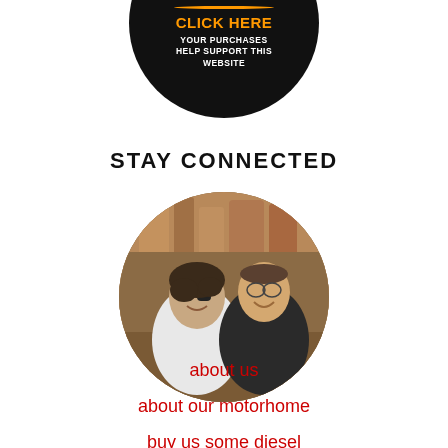[Figure (logo): Amazon.com circular black badge with orange 'CLICK HERE' text and white text 'YOUR PURCHASES HELP SUPPORT THIS WEBSITE']
STAY CONNECTED
[Figure (photo): Circular cropped photo of a couple smiling outdoors, woman in white top with sunglasses, man in dark shirt, autumn-colored rocky background]
about us
about our motorhome
buy us some diesel